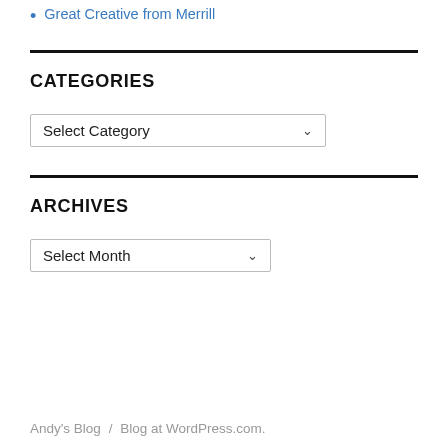Great Creative from Merrill
CATEGORIES
Select Category (dropdown)
ARCHIVES
Select Month (dropdown)
Andy's Blog  /  Blog at WordPress.com.